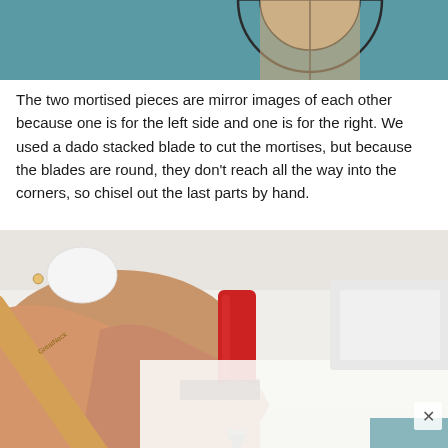[Figure (photo): Top portion of a photo showing a circular wooden mortise joint diagram on a teal/blue-grey background, visible from the top edge of the page.]
The two mortised pieces are mirror images of each other because one is for the left side and one is for the right. We used a dado stacked blade to cut the mortises, but because the blades are round, they don't reach all the way into the corners, so chisel out the last parts by hand.
[Figure (photo): Close-up photo of hands using a mallet (branded 'GreatNeck') to drive a red-handled chisel into a white wooden workpiece.]